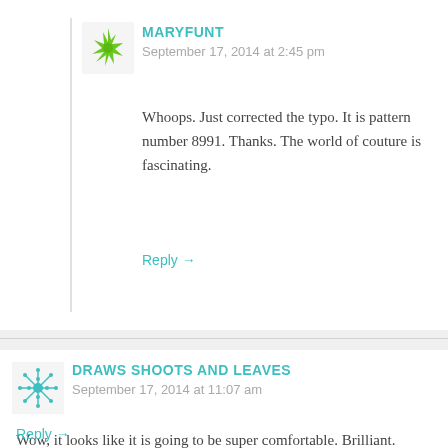MARYFUNT
September 17, 2014 at 2:45 pm
Whoops. Just corrected the typo. It is pattern number 8991. Thanks. The world of couture is fascinating.
Reply →
DRAWS SHOOTS AND LEAVES
September 17, 2014 at 11:07 am
Wow, it looks like it is going to be super comfortable. Brilliant.
Reply →